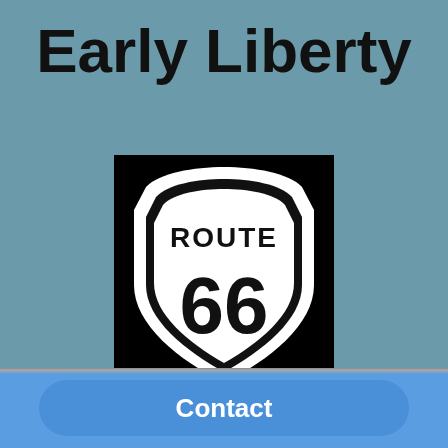Early Liberty
[Figure (illustration): Route 66 shield sign — black square background with white Route 66 highway shield logo showing 'ROUTE' at top and '66' in large numerals]
Rita Anderson
Contact